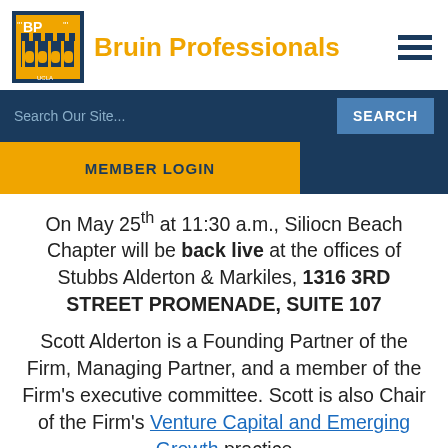[Figure (logo): Bruin Professionals logo — blue square with gold castle/building illustration and 'BP' text, UCLA at bottom]
Bruin Professionals
Search Our Site...
SEARCH
MEMBER LOGIN
On May 25th at 11:30 a.m., Siliocn Beach Chapter will be back live at the offices of Stubbs Alderton & Markiles, 1316 3RD STREET PROMENADE, SUITE 107
Scott Alderton is a Founding Partner of the Firm, Managing Partner, and a member of the Firm's executive committee. Scott is also Chair of the Firm's Venture Capital and Emerging Growth practice